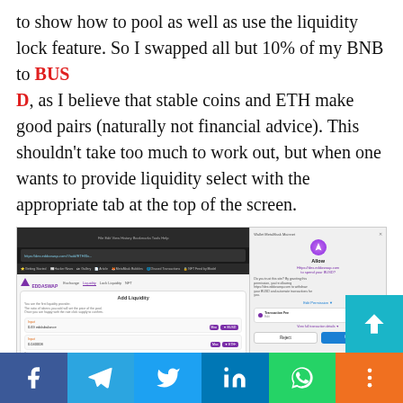to show how to pool as well as use the liquidity lock feature. So I swapped all but 10% of my BNB to BUSD, as I believe that stable coins and ETH make good pairs (naturally not financial advice). This shouldn't take too much to work out, but when one wants to provide liquidity select with the appropriate tab at the top of the screen.
[Figure (screenshot): Screenshot of EddaSwap DEX interface showing the Add Liquidity panel with input fields for BNB/BUSD and ETH tokens, alongside a MetaMask modal dialog asking to allow Https://dex.eddoswap.com to spend your BUSD with a transaction fee of $0.00.]
When using a currency on a DEX for the first time, as I'm sure all of you know things need to be clicked in